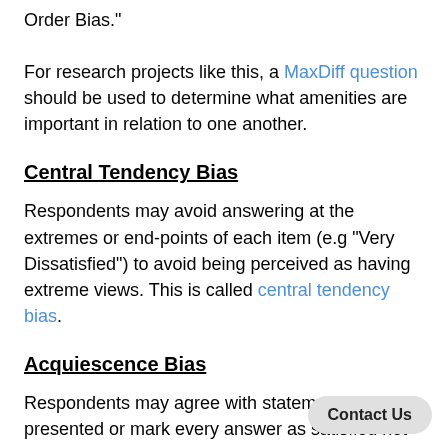Order Bias."

For research projects like this, a MaxDiff question should be used to determine what amenities are important in relation to one another.
Central Tendency Bias
Respondents may avoid answering at the extremes or end-points of each item (e.g "Very Dissatisfied") to avoid being perceived as having extreme views. This is called central tendency bias.
Acquiescence Bias
Respondents may agree with statements as presented or mark every answer as satisfied not to appear negative. Agreeing with all statements is called acquiescence bias.